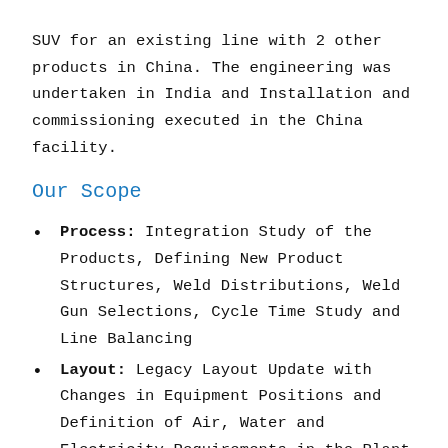SUV for an existing line with 2 other products in China. The engineering was undertaken in India and Installation and commissioning executed in the China facility.
Our Scope
Process: Integration Study of the Products, Defining New Product Structures, Weld Distributions, Weld Gun Selections, Cycle Time Study and Line Balancing
Layout: Legacy Layout Update with Changes in Equipment Positions and Definition of Air, Water and Electricity Requirements in the Plant to Define Piping Space, Cable Trays Required to Ensure Safety